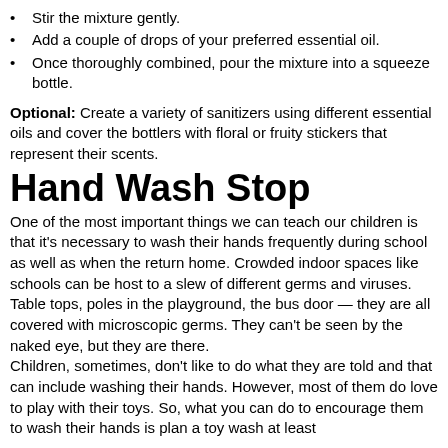Stir the mixture gently.
Add a couple of drops of your preferred essential oil.
Once thoroughly combined, pour the mixture into a squeeze bottle.
Optional: Create a variety of sanitizers using different essential oils and cover the bottlers with floral or fruity stickers that represent their scents.
Hand Wash Stop
One of the most important things we can teach our children is that it's necessary to wash their hands frequently during school as well as when the return home. Crowded indoor spaces like schools can be host to a slew of different germs and viruses. Table tops, poles in the playground, the bus door — they are all covered with microscopic germs. They can't be seen by the naked eye, but they are there.
Children, sometimes, don't like to do what they are told and that can include washing their hands. However, most of them do love to play with their toys. So, what you can do to encourage them to wash their hands is plan a toy wash at least